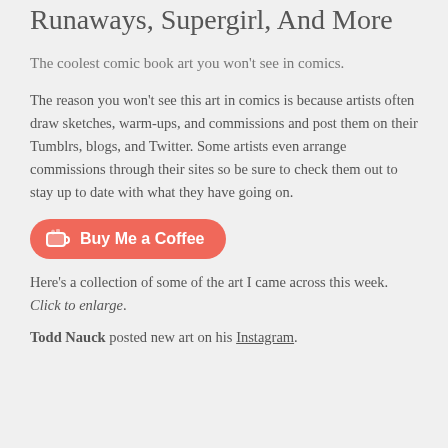Amazing Art Picks: Daredevil, Runaways, Supergirl, And More
The coolest comic book art you won't see in comics.
The reason you won't see this art in comics is because artists often draw sketches, warm-ups, and commissions and post them on their Tumblrs, blogs, and Twitter. Some artists even arrange commissions through their sites so be sure to check them out to stay up to date with what they have going on.
[Figure (other): Buy Me a Coffee button - red/salmon rounded rectangle button with coffee cup icon and text 'Buy Me a Coffee']
Here's a collection of some of the art I came across this week. Click to enlarge.
Todd Nauck posted new art on his Instagram.